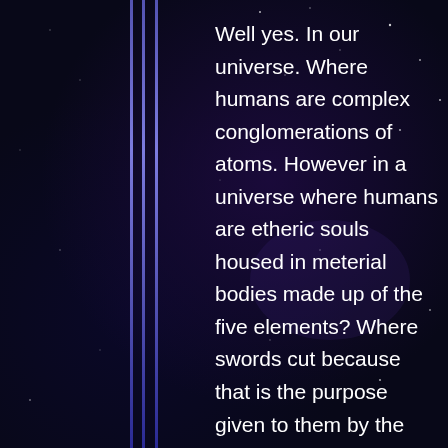Well yes. In our universe. Where humans are complex conglomerations of atoms. However in a universe where humans are etheric souls housed in meterial bodies made up of the five elements? Where swords cut because that is the purpose given to them by the gods That could well be different.
Note that the universes connected by Cynosure include literally cartoonish ones. Where the result of getting a safe dropped on one is to end up folded like an accordian. Explain that with chemical reactions.